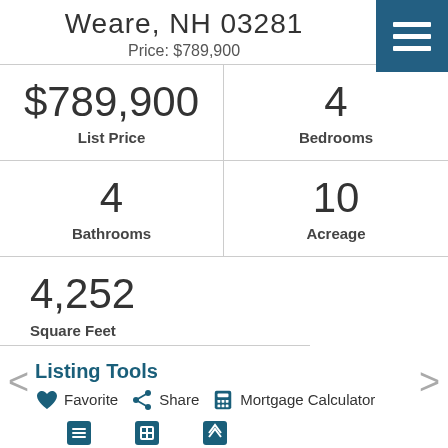Weare, NH 03281
Price: $789,900
| Metric | Value |
| --- | --- |
| List Price | $789,900 |
| Bedrooms | 4 |
| Bathrooms | 4 |
| Acreage | 10 |
4,252
Square Feet
Listing Tools
Favorite  Share  Mortgage Calculator